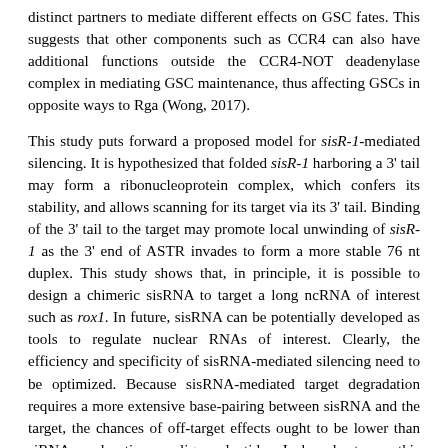distinct partners to mediate different effects on GSC fates. This suggests that other components such as CCR4 can also have additional functions outside the CCR4-NOT deadenylase complex in mediating GSC maintenance, thus affecting GSCs in opposite ways to Rga (Wong, 2017).
This study puts forward a proposed model for sisR-1-mediated silencing. It is hypothesized that folded sisR-1 harboring a 3' tail may form a ribonucleoprotein complex, which confers its stability, and allows scanning for its target via its 3' tail. Binding of the 3' tail to the target may promote local unwinding of sisR-1 as the 3' end of ASTR invades to form a more stable 76 nt duplex. This study shows that, in principle, it is possible to design a chimeric sisRNA to target a long ncRNA of interest such as rox1. In future, sisRNA can be potentially developed as tools to regulate nuclear RNAs of interest. Clearly, the efficiency and specificity of sisRNA-mediated silencing need to be optimized. Because sisRNA-mediated target degradation requires a more extensive base-pairing between sisRNA and the target, the chances of off-target effects ought to be lower than siRNAs and antisense oligonucleotides. In broader terms, this study provides a paradigm, which encourages exploration of whether other sisRNAs or ncRNAs utilize a similar silencing strategy as sisR-1 (Wong, 2017).